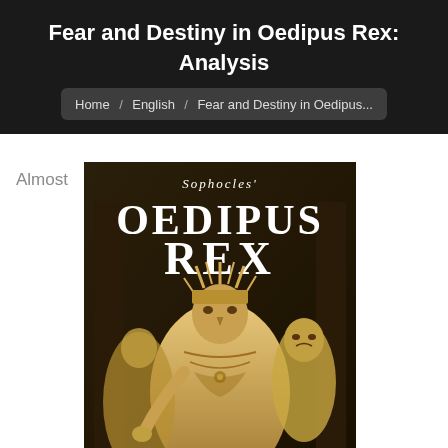Fear and Destiny in Oedipus Rex: Analysis
Home / English / Fear and Destiny in Oedipus...
Almost
[Figure (illustration): Book cover illustration for Sophocles' Oedipus Rex, showing a masked king figure wearing a crown with spikes, dressed in ornate robes, flanked by other masked figures, with the title text 'Sophocles' Oedipus Rex' in large stylized letters.]